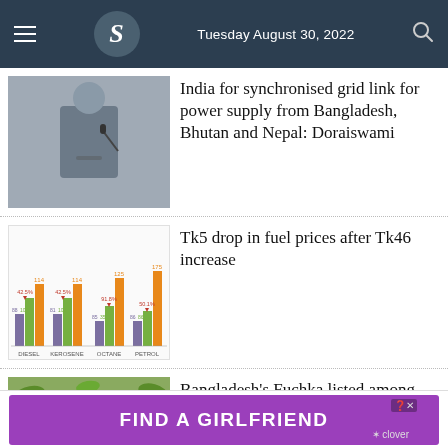Tuesday August 30, 2022
[Figure (photo): Man in dark suit speaking at podium with microphone]
India for synchronised grid link for power supply from Bangladesh, Bhutan and Nepal: Doraiswami
[Figure (bar-chart): Grouped bar chart showing fuel price changes for Diesel, Kerosene, Octane, and Petrol with purple, green, and orange bars and percentage labels]
Tk5 drop in fuel prices after Tk46 increase
[Figure (photo): Street food — Fuchka dish, fried crispy puri shells with filling]
Bangladesh's Fuchka listed among best street foods of Asia
FIND A GIRLFRIEND — clover (advertisement)